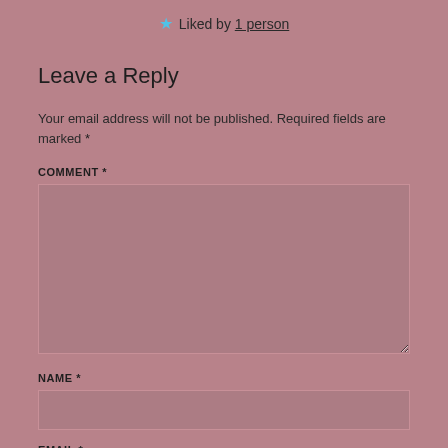Liked by 1 person
Leave a Reply
Your email address will not be published. Required fields are marked *
COMMENT *
NAME *
EMAIL *